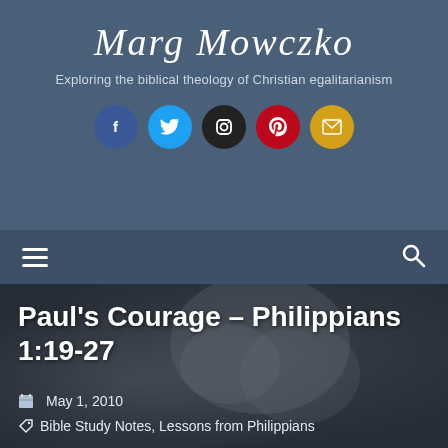Marg Mowczko
Exploring the biblical theology of Christian egalitarianism
[Figure (other): Social media icon buttons: Facebook (blue), Twitter (light blue), Instagram (black), Pinterest (red), Email (gold/yellow)]
[Figure (other): Navigation bar with hamburger menu icon on left and search icon on right]
[Figure (photo): Grayscale photo of a person with hands clasped together in prayer, head bowed]
Paul's Courage – Philippians 1:19-27
May 1, 2010
Bible Study Notes, Lessons from Philippians